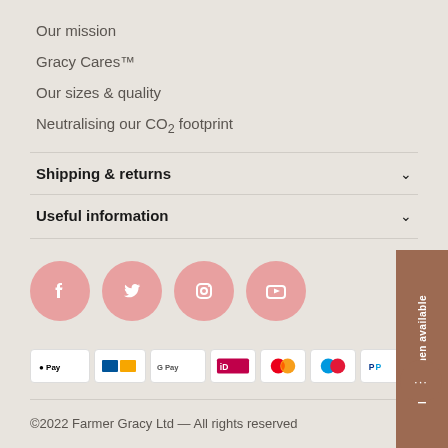Our mission
Gracy Cares™
Our sizes & quality
Neutralising our CO₂ footprint
Shipping & returns
Useful information
[Figure (illustration): Four pink circular social media icons: Facebook, Twitter, Instagram, YouTube]
[Figure (illustration): Payment method badges: Apple Pay, Bancontact, Google Pay, iDEAL, Mastercard, Maestro, PayPal, VISA]
©2022 Farmer Gracy Ltd — All rights reserved